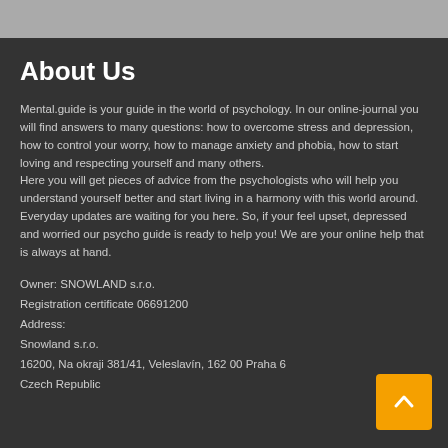About Us
Mental.guide is your guide in the world of psychology. In our online-journal you will find answers to many questions: how to overcome stress and depression, how to control your worry, how to manage anxiety and phobia, how to start loving and respecting yourself and many others.
Here you will get pieces of advice from the psychologists who will help you understand yourself better and start living in a harmony with this world around. Everyday updates are waiting for you here. So, if your feel upset, depressed and worried our psycho guide is ready to help you! We are your online help that is always at hand.
Owner: SNOWLAND s.r.o.
Registration certificate 06691200
Address:
Snowland s.r.o.
16200, Na okraji 381/41, Veleslavín, 162 00 Praha 6
Czech Republic